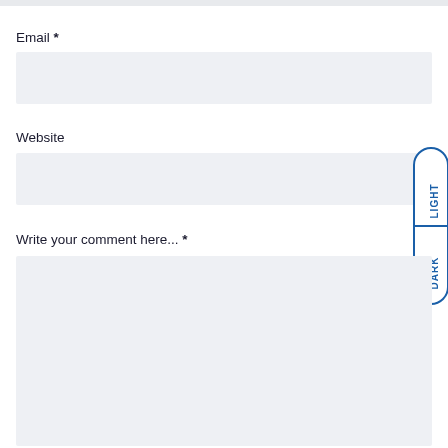Email *
[Figure (other): Email input field - empty text input box with light gray background]
Website
[Figure (other): Website input field - empty text input box with light gray background]
[Figure (other): Light/Dark mode toggle pill button on the right side, showing LIGHT on top half and DARK on bottom half, styled with blue border and rounded pill shape]
Write your comment here... *
[Figure (other): Comment textarea - large empty text area with light gray background]